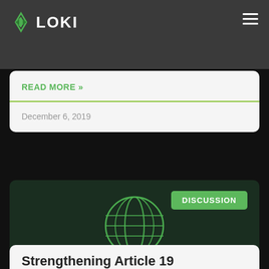LOKI
edited to reflect recent events. It's been around a year since the Australian Parliament
READ MORE »
December 6, 2019
[Figure (screenshot): Dark green card with globe icon and DISCUSSION badge]
Strengthening Article 19